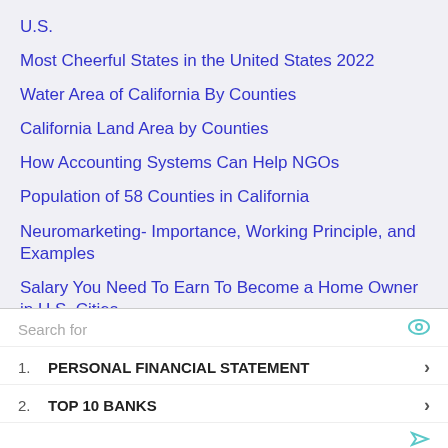U.S.
Most Cheerful States in the United States 2022
Water Area of California By Counties
California Land Area by Counties
How Accounting Systems Can Help NGOs
Population of 58 Counties in California
Neuromarketing- Importance, Working Principle, and Examples
Salary You Need To Earn To Become a Home Owner in U.S. Cities
Housing Units in California by Counties
Search for
1. PERSONAL FINANCIAL STATEMENT
2. TOP 10 BANKS